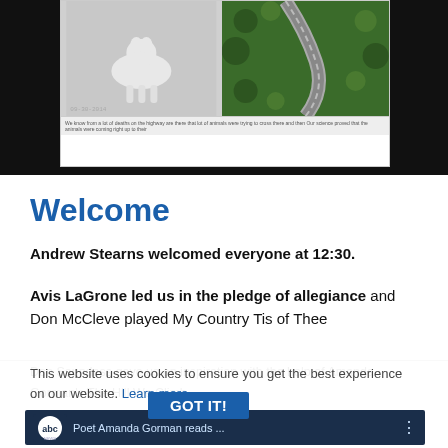[Figure (screenshot): Screenshot of a webpage showing wildlife camera images and an aerial road photo with a caption about animals crossing the highway]
Welcome
Andrew Stearns welcomed everyone at 12:30.
Avis LaGrone led us in the pledge of allegiance and Don McCleve played My Country Tis of Thee
This website uses cookies to ensure you get the best experience on our website. Learn more
[Figure (screenshot): ABC News video player showing 'Poet Amanda Gorman reads ...' with a GOT IT! cookie consent button overlay]